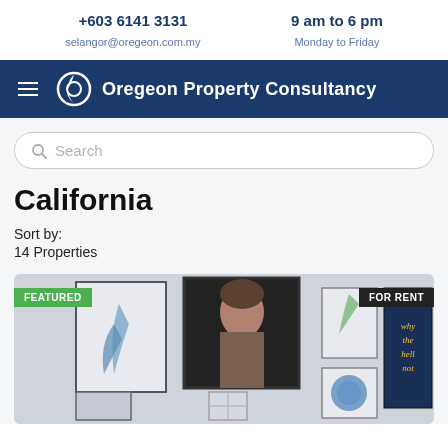+603 6141 3131 | selangor@oregeon.com.my | 9 am to 6 pm | Monday to Friday
[Figure (logo): Oregeon Property Consultancy logo with navigation bar]
Search
California
Sort by:
14 Properties
[Figure (photo): Property listing image showing a gallery wall with framed artwork, labeled FEATURED and FOR RENT]